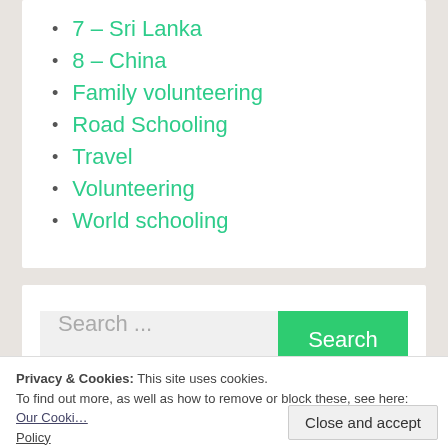7 – Sri Lanka
8 – China
Family volunteering
Road Schooling
Travel
Volunteering
World schooling
Search ...
Privacy & Cookies: This site uses cookies. To find out more, as well as how to remove or block these, see here: Our Cookie Policy
Close and accept